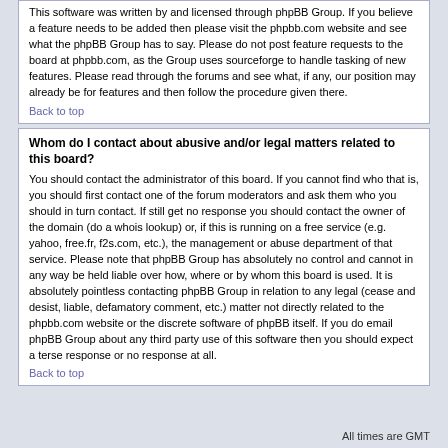This software was written by and licensed through phpBB Group. If you believe a feature needs to be added then please visit the phpbb.com website and see what the phpBB Group has to say. Please do not post feature requests to the board at phpbb.com, as the Group uses sourceforge to handle tasking of new features. Please read through the forums and see what, if any, our position may already be for features and then follow the procedure given there.
Back to top
Whom do I contact about abusive and/or legal matters related to this board?
You should contact the administrator of this board. If you cannot find who that is, you should first contact one of the forum moderators and ask them who you should in turn contact. If still get no response you should contact the owner of the domain (do a whois lookup) or, if this is running on a free service (e.g. yahoo, free.fr, f2s.com, etc.), the management or abuse department of that service. Please note that phpBB Group has absolutely no control and cannot in any way be held liable over how, where or by whom this board is used. It is absolutely pointless contacting phpBB Group in relation to any legal (cease and desist, liable, defamatory comment, etc.) matter not directly related to the phpbb.com website or the discrete software of phpBB itself. If you do email phpBB Group about any third party use of this software then you should expect a terse response or no response at all.
Back to top
All times are GMT